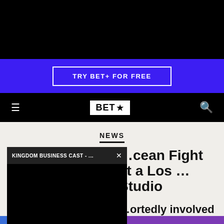[Figure (screenshot): Black top banner area (advertisement/video space)]
TRY BET+ FOR FREE
BET★
NEWS
[Figure (screenshot): Video popup overlay with title 'KINGDOM BUSINESS CAST - ...' and close button]
...cean Fight at a Los ...Studio
...ortedly involved in ...' brawl.